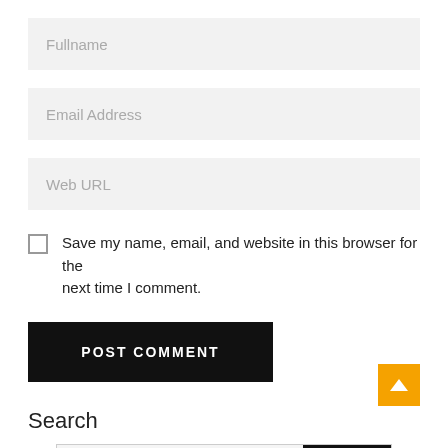Fullname
Email Address
Web URL
Save my name, email, and website in this browser for the next time I comment.
POST COMMENT
Search
SEARCH